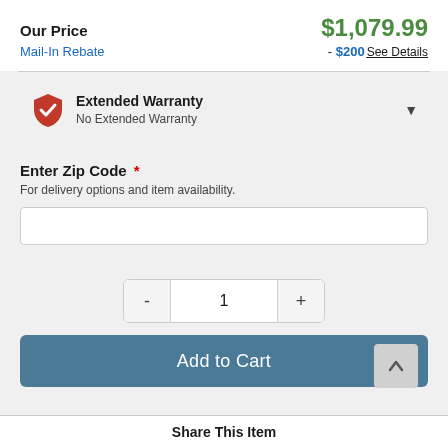Our Price   $1,079.99
Mail-In Rebate   - $200 See Details
Extended Warranty
No Extended Warranty
Enter Zip Code *
For delivery options and item availability.
1
Add to Cart
Share This Item